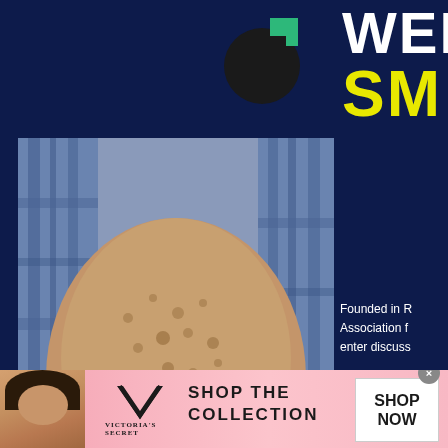[Figure (logo): Black and teal circular logo with square cutout]
WEL
SM
Founded in R Association f enter discuss
[Figure (photo): Close-up photo of a person's elbow/arm with skin spots, person wearing plaid shirt]
Hepatitis C Signs (Many People May Regret Not Identifying Them Sooner)
[Figure (other): Dark metallic button with screws labeled BECO]
[Figure (photo): Victoria's Secret advertisement banner with model, VS logo, SHOP THE COLLECTION text and SHOP NOW button]